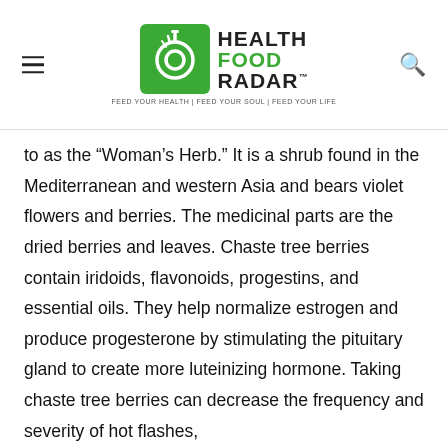Health Food Radar — FEED YOUR HEALTH | FEED YOUR SOUL | FEED YOUR LIFE
to as the “Woman’s Herb.” It is a shrub found in the Mediterranean and western Asia and bears violet flowers and berries. The medicinal parts are the dried berries and leaves. Chaste tree berries contain iridoids, flavonoids, progestins, and essential oils. They help normalize estrogen and produce progesterone by stimulating the pituitary gland to create more luteinizing hormone. Taking chaste tree berries can decrease the frequency and severity of hot flashes,